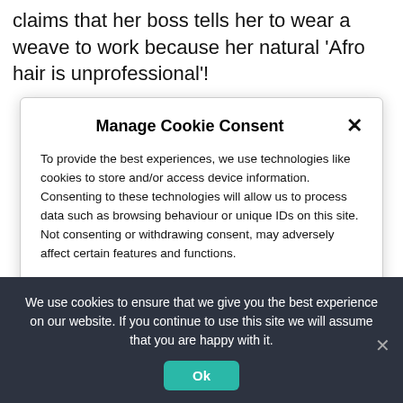claims that her boss tells her to wear a weave to work because her natural 'Afro hair is unprofessional'!
Manage Cookie Consent
To provide the best experiences, we use technologies like cookies to store and/or access device information. Consenting to these technologies will allow us to process data such as browsing behaviour or unique IDs on this site. Not consenting or withdrawing consent, may adversely affect certain features and functions.
Manage services
Accept
Deny
We use cookies to ensure that we give you the best experience on our website. If you continue to use this site we will assume that you are happy with it.
Ok